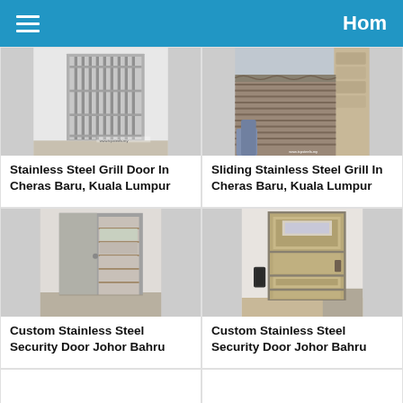Hom
[Figure (photo): Stainless steel grill door, vertical bars, installed in building]
Stainless Steel Grill Door In Cheras Baru, Kuala Lumpur
[Figure (photo): Sliding stainless steel grill with decorative pattern, outdoor installation]
Sliding Stainless Steel Grill In Cheras Baru, Kuala Lumpur
[Figure (photo): Custom stainless steel security door open, showing interior shelving]
Custom Stainless Steel Security Door Johor Bahru
[Figure (photo): Custom stainless steel security door closed, brushed steel finish]
Custom Stainless Steel Security Door Johor Bahru